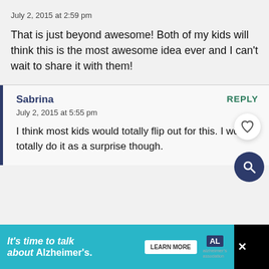July 2, 2015 at 2:59 pm
That is just beyond awesome! Both of my kids will think this is the most awesome idea ever and I can't wait to share it with them!
Sabrina
REPLY
July 2, 2015 at 5:55 pm
I think most kids would totally flip out for this. I would totally do it as a surprise though.
It's time to talk about Alzheimer's. LEARN MORE